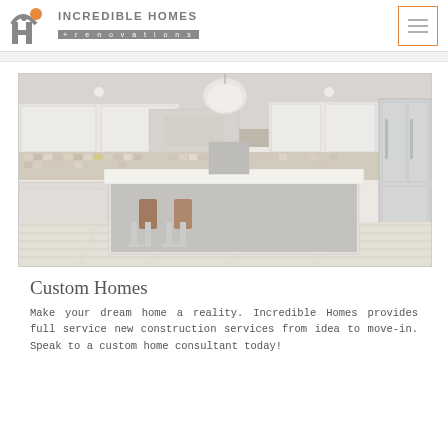INCREDIBLE HOMES + renovations
[Figure (photo): Interior photo of a modern luxury kitchen with white cabinets, large island with white quartz countertop, modern pendant chandelier, mosaic tile backsplash, stainless steel refrigerator, and bar stools.]
Custom Homes
Make your dream home a reality. Incredible Homes provides full service new construction services from idea to move-in. Speak to a custom home consultant today!